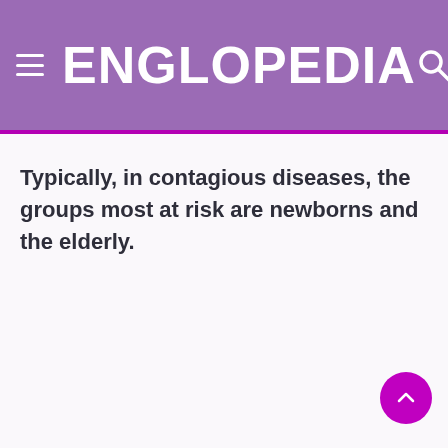ENGLOPEDIA
Typically, in contagious diseases, the groups most at risk are newborns and the elderly.